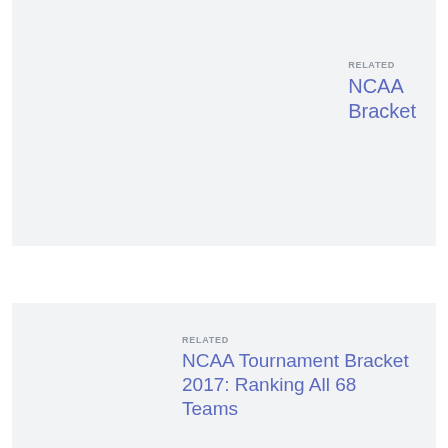RELATED
NCAA Bracket
RELATED
NCAA Tournament Bracket 2017: Ranking All 68 Teams